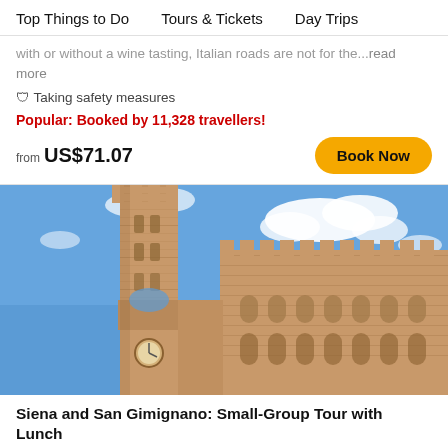Top Things to Do    Tours & Tickets    Day Trips
with or without a wine tasting, Italian roads are not for the...read more
🛡 Taking safety measures
Popular: Booked by 11,328 travellers!
from US$71.07
Book Now
[Figure (photo): Siena medieval architecture: tall brick tower (Torre del Mangia) and Palazzo Pubblico with crenellated battlements against a partly cloudy blue sky]
Siena and San Gimignano: Small-Group Tour with Lunch